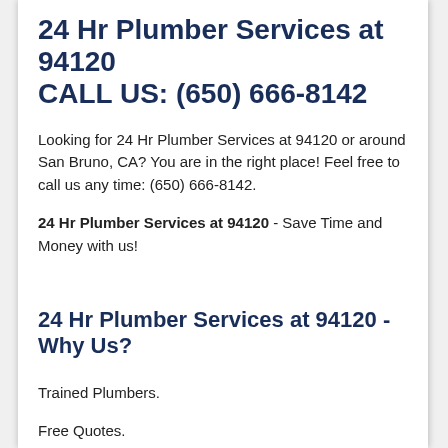24 Hr Plumber Services at 94120
CALL US: (650) 666-8142
Looking for 24 Hr Plumber Services at 94120 or around San Bruno, CA? You are in the right place! Feel free to call us any time: (650) 666-8142.
24 Hr Plumber Services at 94120 - Save Time and Money with us!
24 Hr Plumber Services at 94120 - Why Us?
Trained Plumbers.
Free Quotes.